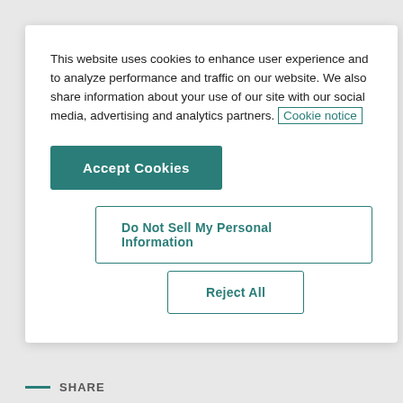This website uses cookies to enhance user experience and to analyze performance and traffic on our website. We also share information about your use of our site with our social media, advertising and analytics partners. Cookie notice
Accept Cookies
Do Not Sell My Personal Information
Reject All
Phone: +43 1 717 01 6334
Email: katharina.praschl@worldline.com
SHARE